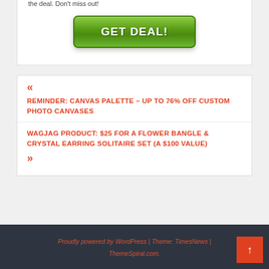the deal. Don't miss out!
[Figure (other): Green GET DEAL! button]
« REMINDER: CANVAS PALETTE – UP TO 76% OFF CUSTOM PHOTO CANVASES
WAGJAG PRODUCT: $25 FOR A FLOWER BANGLE & CRYSTAL EARRING SOLITAIRE SET (A $100 VALUE) »
Proudly powered by WordPress | Theme: TimesNews | ThemeSpiral.com.